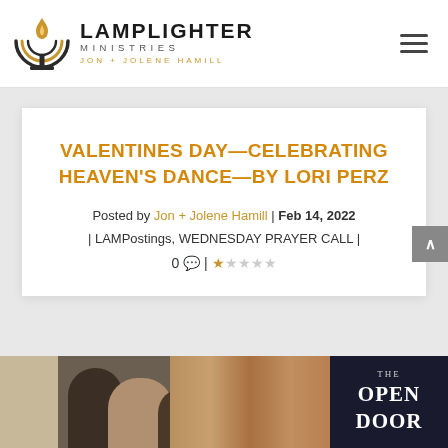[Figure (logo): Lamplighter Ministries logo with menorah/flame icon and text 'LAMPLIGHTER MINISTRIES JON+JOLENE HAMILL']
VALENTINES DAY—CELEBRATING HEAVEN'S DANCE—BY LORI PERZ
Posted by Jon + Jolene Hamill | Feb 14, 2022 | LAMPostings, WEDNESDAY PRAYER CALL | 0 💬 | ★☆☆☆☆
[Figure (photo): Photo strip at bottom showing people in a church/meeting setting with a book cover 'THE OPEN DOOR' partially visible on the right]